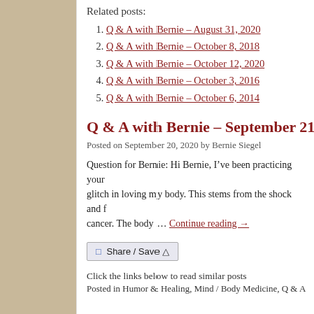Related posts:
Q & A with Bernie – August 31, 2020
Q & A with Bernie – October 8, 2018
Q & A with Bernie – October 12, 2020
Q & A with Bernie – October 3, 2016
Q & A with Bernie – October 6, 2014
Q & A with Bernie – September 21, 20...
Posted on September 20, 2020 by Bernie Siegel
Question for Bernie: Hi Bernie, I've been practicing your... glitch in loving my body. This stems from the shock and f... cancer. The body … Continue reading →
[Figure (other): Share/Save button widget]
Click the links below to read similar posts
Posted in Humor & Healing, Mind / Body Medicine, Q & A with B...